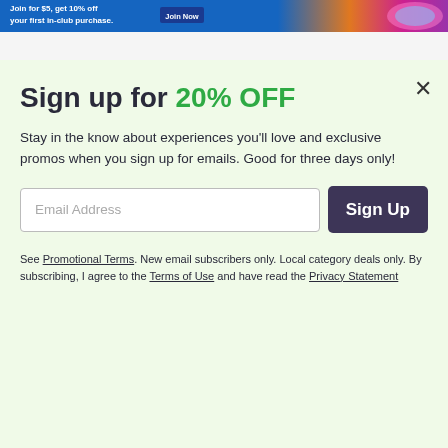[Figure (screenshot): Website banner advertisement: 'Join for $5, get 10% off your first in-club purchase. Join Now' with colorful graphic on right side.]
Sign up for 20% OFF
Stay in the know about experiences you'll love and exclusive promos when you sign up for emails. Good for three days only!
Email Address [input field] Sign Up [button]
See Promotional Terms. New email subscribers only. Local category deals only. By subscribing, I agree to the Terms of Use and have read the Privacy Statement